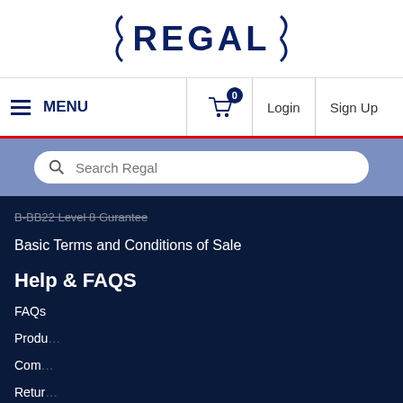[Figure (logo): Regal brand logo with angular brackets on each side of the text REGAL in bold dark blue]
≡ MENU  [cart 0]  Login  Sign Up
Search Regal
Basic Terms and Conditions of Sale
Help & FAQS
FAQs
Produ...
Com...
Retur...
Custo...
Covid...
We use cookies to optimise site functionality and give you the best possible experience. Learn more.
I Accept